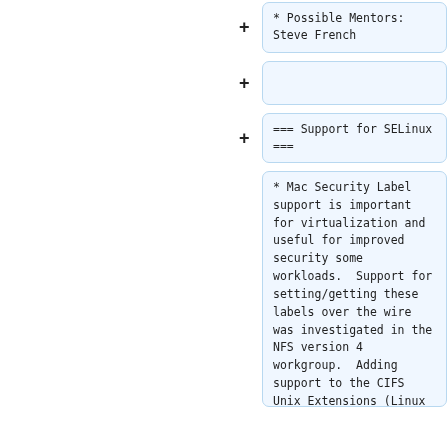* Possible Mentors: Steve French
=== Support for SELinux ===
* Mac Security Label support is important for virtualization and useful for improved security some workloads.  Support for setting/getting these labels over the wire was investigated in the NFS version 4 workgroup.  Adding support to the CIFS Unix Extensions (Linux kernel client and Samba server) should be